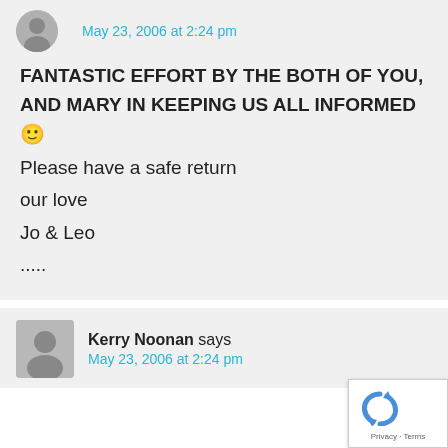May 23, 2006 at 2:24 pm
FANTASTIC EFFORT BY THE BOTH OF YOU, AND MARY IN KEEPING US ALL INFORMED 🙂
Please have a safe return

our love

Jo & Leo

.....
[Figure (illustration): Gray circular avatar placeholder with person silhouette icon for Kerry Noonan]
Kerry Noonan says
May 23, 2006 at 2:24 pm